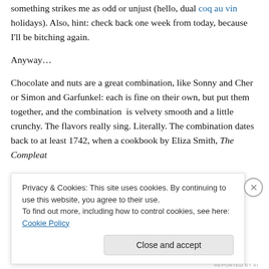something strikes me as odd or unjust (hello, dual coq au vin holidays). Also, hint: check back one week from today, because I'll be bitching again.
Anyway…
Chocolate and nuts are a great combination, like Sonny and Cher or Simon and Garfunkel: each is fine on their own, but put them together, and the combination is velvety smooth and a little crunchy. The flavors really sing. Literally. The combination dates back to at least 1742, when a cookbook by Eliza Smith, The Compleat
Privacy & Cookies: This site uses cookies. By continuing to use this website, you agree to their use.
To find out more, including how to control cookies, see here: Cookie Policy
Close and accept